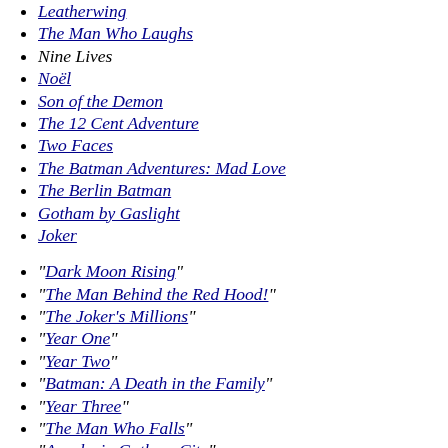Leatherwing
The Man Who Laughs
Nine Lives
Noël
Son of the Demon
The 12 Cent Adventure
Two Faces
The Batman Adventures: Mad Love
The Berlin Batman
Gotham by Gaslight
Joker
"Dark Moon Rising"
"The Man Behind the Red Hood!"
"The Joker's Millions"
"Year One"
"Year Two"
"Batman: A Death in the Family"
"Year Three"
"The Man Who Falls"
"Anarky in Gotham City"
"Gothic"
"The Return of the Joker"
"Prey"
"The Last Arkham"
"Knightfall"